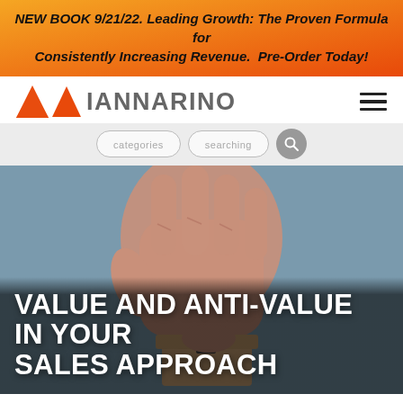NEW BOOK 9/21/22. Leading Growth: The Proven Formula for Consistently Increasing Revenue.  Pre-Order Today!
[Figure (logo): Iannarino logo with orange triangle and gray text]
[Figure (photo): A hand pressing down on a small wooden block with a minus/dash symbol carved into it, on a gray-blue background]
VALUE AND ANTI-VALUE IN YOUR SALES APPROACH